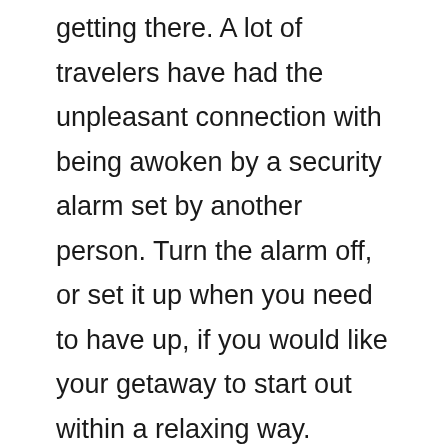getting there. A lot of travelers have had the unpleasant connection with being awoken by a security alarm set by another person. Turn the alarm off, or set it up when you need to have up, if you would like your getaway to start out within a relaxing way.
Rental car companies usually require renters to get 18 years old on the youngest, but some require drivers which are a minimum of 25 or older. Chances are a rental agency will charge an under